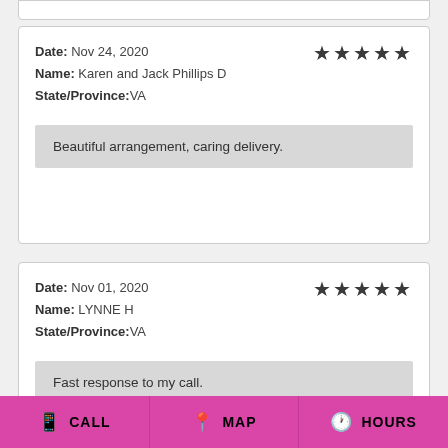Date: Nov 24, 2020
Name: Karen and Jack Phillips D
State/Province:VA
★★★★★
Beautiful arrangement, caring delivery.
Date: Nov 01, 2020
Name: LYNNE H
State/Province:VA
★★★★★
Fast response to my call.
📱 CALL   📍 MAP   🕐 HOURS